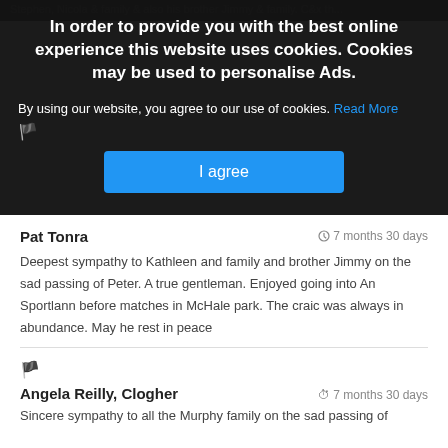[Figure (screenshot): Cookie consent overlay modal on a dark semi-transparent background with headline, body text, Read More link, and I agree button]
Pat Tonra
7 months 30 days
Deepest sympathy to Kathleen and family and brother Jimmy on the sad passing of Peter. A true gentleman. Enjoyed going into An Sportlann before matches in McHale park. The craic was always in abundance. May he rest in peace
Angela Reilly, Clogher
7 months 30 days
Sincere sympathy to all the Murphy family on the sad passing of